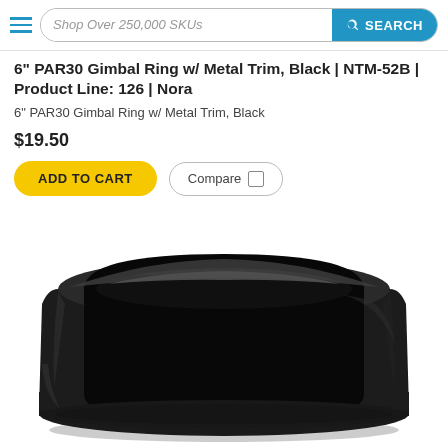Shop Over 250,000 SKUs | SEARCH
6" PAR30 Gimbal Ring w/ Metal Trim, Black | NTM-52B | Product Line: 126 | Nora
6" PAR30 Gimbal Ring w/ Metal Trim, Black
$19.50
ADD TO CART | Compare
[Figure (photo): Close-up photo of a black metal gimbal ring trim component for recessed lighting, viewed from a slight angle above showing the circular ring shape with smooth matte-black finish]